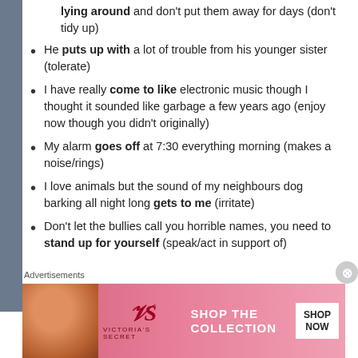lying around and don't put them away for days (don't tidy up)
He puts up with a lot of trouble from his younger sister (tolerate)
I have really come to like electronic music though I thought it sounded like garbage a few years ago (enjoy now though you didn't originally)
My alarm goes off at 7:30 everything morning (makes a noise/rings)
I love animals but the sound of my neighbours dog barking all night long gets to me (irritate)
Don't let the bullies call you horrible names, you need to stand up for yourself (speak/act in support of)
Advertisements
[Figure (illustration): Victoria's Secret advertisement banner with a woman's face, VS logo, 'SHOP THE COLLECTION' text, and 'SHOP NOW' button]